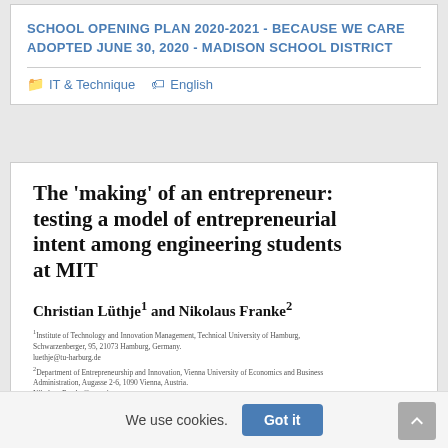SCHOOL OPENING PLAN 2020-2021 - BECAUSE WE CARE ADOPTED JUNE 30, 2020 - MADISON SCHOOL DISTRICT
IT & Technique   English
The 'making' of an entrepreneur: testing a model of entrepreneurial intent among engineering students at MIT
Christian Lüthje¹ and Nikolaus Franke²
¹Institute of Technology and Innovation Management, Technical University of Hamburg, Schwarzenberger, 95, 21073 Hamburg, Germany. luethje@tu-harburg.de
²Department of Entrepreneurship and Innovation, Vienna University of Economics and Business Administration, Augasse 2-6, 1090 Vienna, Austria. Nikolaus.Franke@wu-wien.ac.at
In the present study a covariance structure model is tested to identify the causes of entrepreneurial intent among engineering students...
We use cookies.